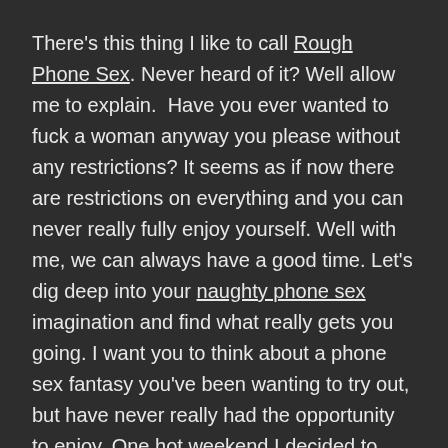There's this thing I like to call Rough Phone Sex. Never heard of it? Well allow me to explain.  Have you ever wanted to fuck a woman anyway you please without any restrictions? It seems as if now there are restrictions on everything and you can never really fully enjoy yourself. Well with me, we can always have a good time. Let's dig deep into your naughty phone sex imagination and find what really gets you going. I want you to think about a phone sex fantasy you've been wanting to try out, but have never really had the opportunity to enjoy. One hot weekend I decided to challenge my kinky horny phone sex boyfriend to taboo phone sex. He said he always wanted a cheerleader phone sex fantasy with certain limits attached. I said let's go for it. I got dressed up in my outfit and went to work. First I slobbed hungrily on his fat juicy cock, making him feel like the big man on campus. While giving him blow job phone sex, I rubbed on my